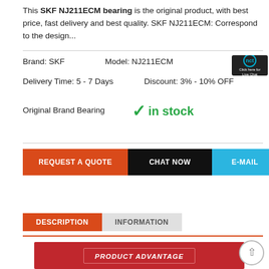This SKF NJ211ECM bearing is the original product, with best price, fast delivery and best quality. SKF NJ211ECM: Correspond to the design...
Brand: SKF   Model: NJ211ECM
Delivery Time: 5 - 7 Days   Discount: 3% - 10% OFF
Original Brand Bearing
✓ in stock
[Figure (other): Live Chat badge with circular icon and text 'Click here for Live Chat']
REQUEST A QUOTE   CHAT NOW   E-MAIL
DESCRIPTION   INFORMATION
[Figure (other): PRODUCT ADVANTAGE banner in red with white italic bold text, with inner border outline]